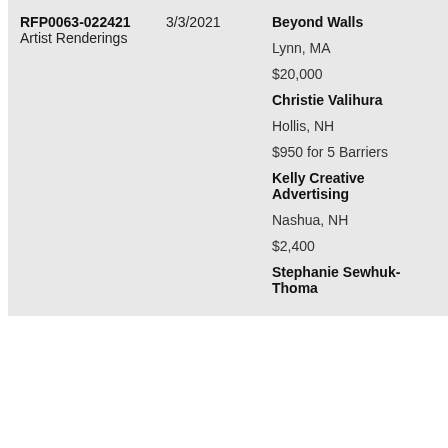| RFP ID / Description | Date | Vendor / Location / Amount |
| --- | --- | --- |
| RFP0063-022421 Artist Renderings | 3/3/2021 | Beyond Walls
Lynn, MA
$20,000
Christie Valihura
Hollis, NH
$950 for 5 Barriers
Kelly Creative Advertising
Nashua, NH
$2,400
Stephanie Sewhuk-Thoma... |